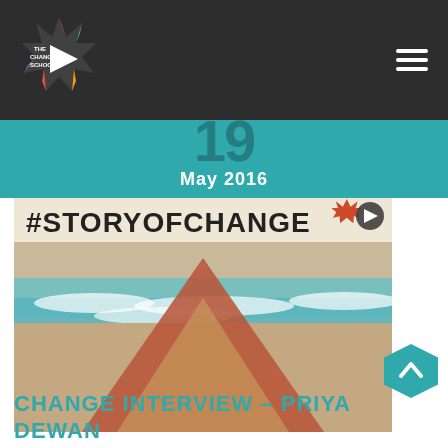[Figure (logo): The Change School logo — colorful star/burst shape with a play-button triangle, text reads THE CHANGE SCHOOL]
[Figure (other): Hamburger menu icon (three horizontal white bars) in top-right of dark nav bar]
19
May 2016
[Figure (photo): Beach scene with ocean waves and a large terracotta/red triangle shape in the foreground on the sand. Text overlay at top reads #STORYOFCHANGE with The Change School logo in top right corner of image.]
[Figure (other): Teal hexagon scroll-to-top button with upward chevron arrow]
CHANGE INTERVIEW - PRIYA DEWAN